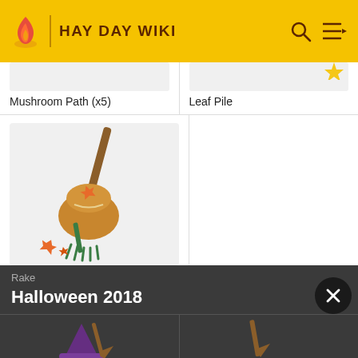HAY DAY WIKI
Mushroom Path (x5)
Leaf Pile
[Figure (illustration): Rake item image: a garden rake with a bag of autumn leaves and orange maple leaves falling, on a light gray background]
Rake
Halloween 2018
[Figure (illustration): Partial bottom thumbnails of Halloween 2018 items: witch hat and broom on left, another item on right]
[Figure (other): Close/X button circle in dark]